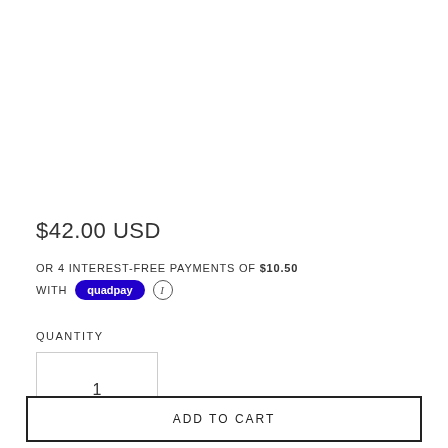$42.00 USD
OR 4 INTEREST-FREE PAYMENTS OF $10.50
WITH quadpay ℹ
QUANTITY
1
ADD TO CART